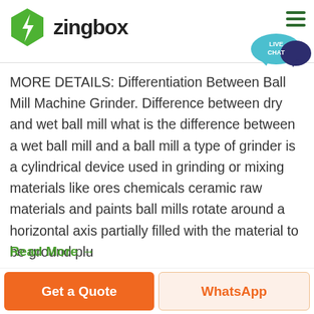[Figure (logo): Zingbox logo: green hexagon with lightning bolt and text 'zingbox']
MORE DETAILS: Differentiation Between Ball Mill Machine Grinder. Difference between dry and wet ball mill what is the difference between a wet ball mill and a ball mill a type of grinder is a cylindrical device used in grinding or mixing materials like ores chemicals ceramic raw materials and paints ball mills rotate around a horizontal axis partially filled with the material to be ground plu
Read More →
Get a Quote
WhatsApp